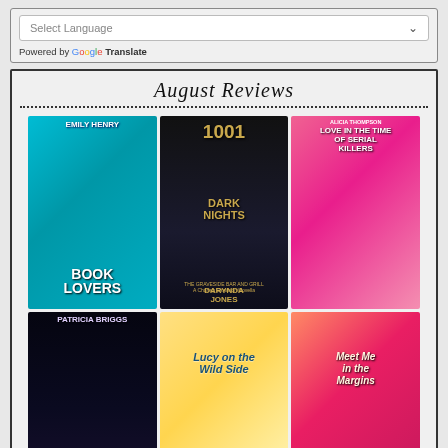[Figure (screenshot): Google Translate widget with Select Language dropdown and 'Powered by Google Translate' text]
August Reviews
[Figure (illustration): Grid of 6 book covers for August Reviews: Book Lovers by Emily Henry, 1001 Dark Nights: The Graveside Bar and Grill by Darynda Jones, Love in the Time of Serial Killers by Alicia Thompson, Soul Taken by Patricia Briggs, Lucy on the Wild Side by Kerry Rea, Meet Me in the Margins by Melissa Ferguson]